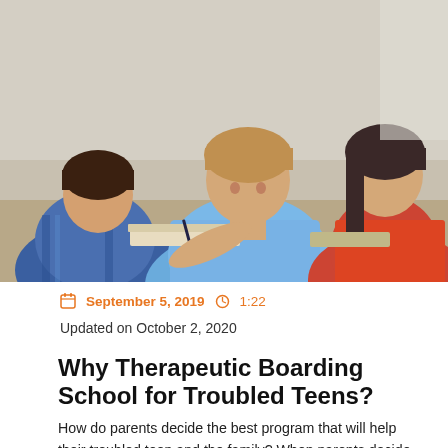[Figure (photo): Students sitting at desks in a classroom, writing. A teenage boy in a blue shirt is in the center, another boy in a plaid shirt is on the left, and a girl in a red top is on the right.]
September 5, 2019  1:22
Updated on October 2, 2020
Why Therapeutic Boarding School for Troubled Teens?
How do parents decide the best program that will help their troubled teen and the family? When parents decide on the best kind of program, often they do so with the
[Figure (infographic): Orange panel with three menu options: Get Help Now (with send/arrow icon), Speak to a Counselor (with phone icon), Let's Chat (with robot/chat icon)]